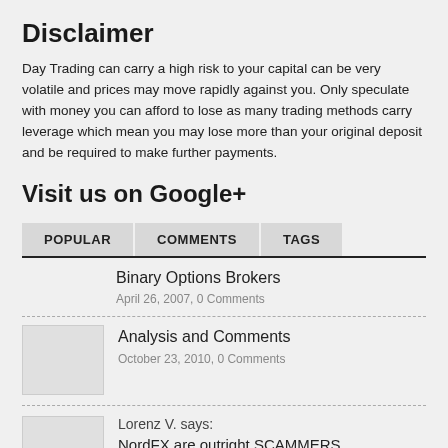Disclaimer
Day Trading can carry a high risk to your capital can be very volatile and prices may move rapidly against you. Only speculate with money you can afford to lose as many trading methods carry leverage which mean you may lose more than your original deposit and be required to make further payments.
Visit us on Google+
POPULAR | COMMENTS | TAGS
Binary Options Brokers
April 26, 2007, 0 Comments
Analysis and Comments
October 23, 2010, 0 Comments
Lorenz V. says:
NordFX are outright SCAMMERS when it comes to you making profits